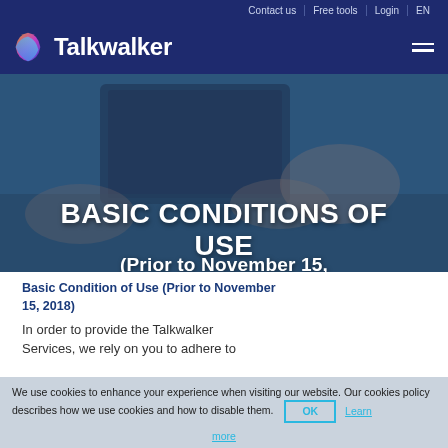Contact us | Free tools | Login | EN
Talkwalker
[Figure (photo): People at a desk with laptop and papers, blue overlay, hero image for Talkwalker Basic Conditions of Use page]
BASIC CONDITIONS OF USE
Basic Condition of Use (Prior to November 15, 2018)
In order to provide the Talkwalker Services, we rely on you to adhere to
We use cookies to enhance your experience when visiting our website. Our cookies policy describes how we use cookies and how to disable them.
OK
Learn more